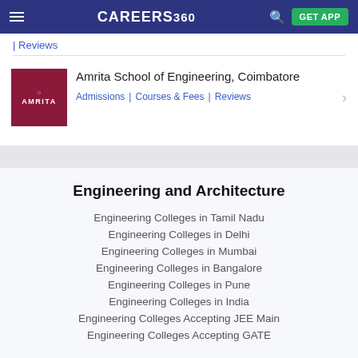CAREERS360
| Reviews
Amrita School of Engineering, Coimbatore
Admissions | Courses & Fees | Reviews
Engineering and Architecture
Engineering Colleges in Tamil Nadu
Engineering Colleges in Delhi
Engineering Colleges in Mumbai
Engineering Colleges in Bangalore
Engineering Colleges in Pune
Engineering Colleges in India
Engineering Colleges Accepting JEE Main
Engineering Colleges Accepting GATE